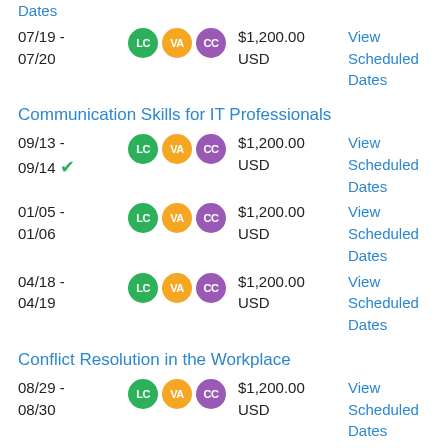07/19 - 07/20 | LC VA CC | $1,200.00 USD | View Scheduled Dates
Communication Skills for IT Professionals
09/13 - 09/14 ✓ | LC VA CC | $1,200.00 USD | View Scheduled Dates
01/05 - 01/06 | LC VA CC | $1,200.00 USD | View Scheduled Dates
04/18 - 04/19 | LC VA CC | $1,200.00 USD | View Scheduled Dates
Conflict Resolution in the Workplace
08/29 - 08/30 | LC VA CC | $1,200.00 USD | View Scheduled Dates